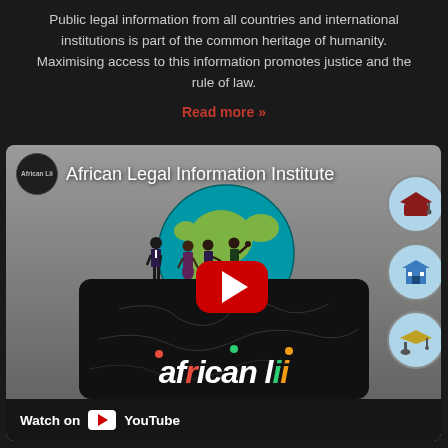Public legal information from all countries and international institutions is part of the common heritage of humanity. Maximising access to this information promotes justice and the rule of law.
Read more »
[Figure (screenshot): YouTube video thumbnail for African Legal Information Institute showing animated figures standing on a globe/platform with the African Lii brand logo and a YouTube play button overlay. A 'Watch on YouTube' bar appears at the bottom.]